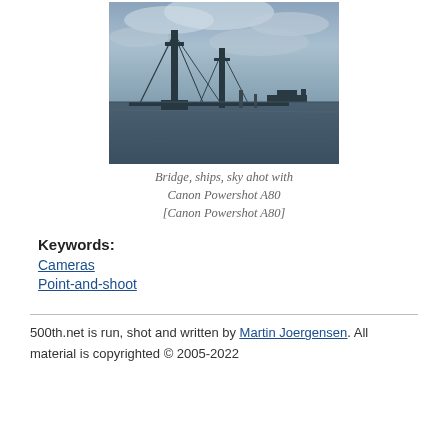[Figure (photo): A suspension bridge photographed from the water, with ships visible in the background and a cloudy sky. Dark silhouette style photograph.]
Bridge, ships, sky ahot with Canon Powershot A80 [Canon Powershot A80]
Keywords:
Cameras
Point-and-shoot
500th.net is run, shot and written by Martin Joergensen. All material is copyrighted © 2005-2022